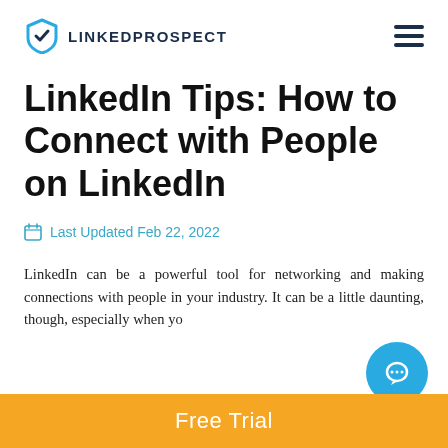LINKEDPROSPECT
LinkedIn Tips: How to Connect with People on LinkedIn
Last Updated Feb 22, 2022
LinkedIn can be a powerful tool for networking and making connections with people in your industry. It can be a little daunting, though, especially when yo...
Free Trial